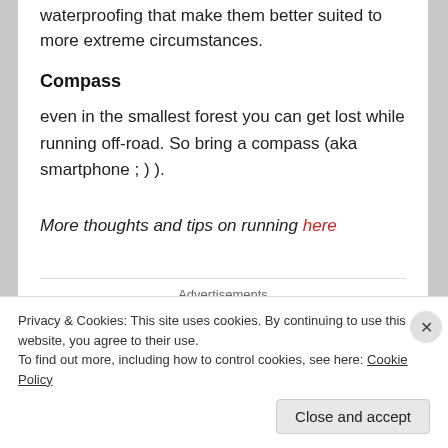waterproofing that make them better suited to more extreme circumstances.
Compass
even in the smallest forest you can get lost while running off-road. So bring a compass (aka smartphone ; ) ).
More thoughts and tips on running here
Advertisements
Privacy & Cookies: This site uses cookies. By continuing to use this website, you agree to their use.
To find out more, including how to control cookies, see here: Cookie Policy
Close and accept